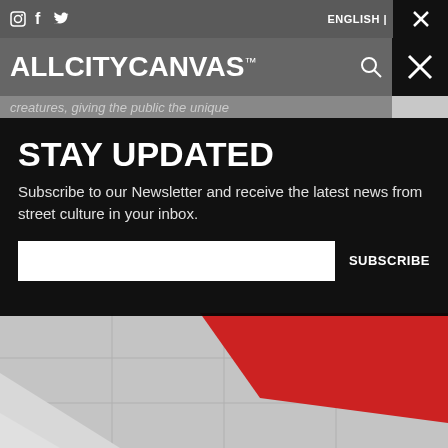ALLCITYCANVAS™
creatures, giving the public the unique
STAY UPDATED
Subscribe to our Newsletter and receive the latest news from street culture in your inbox.
SUBSCRIBE
[Figure (photo): Street art installation showing red and white geometric shapes on a floor surface]